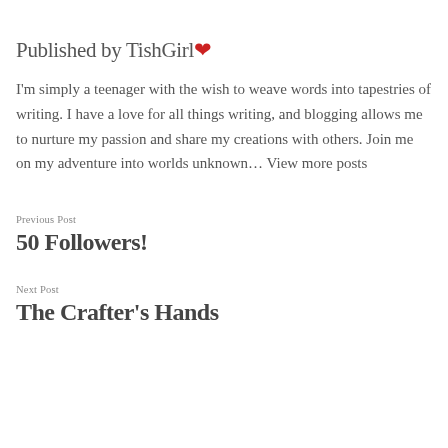Published by TishGirl ❤
I'm simply a teenager with the wish to weave words into tapestries of writing. I have a love for all things writing, and blogging allows me to nurture my passion and share my creations with others. Join me on my adventure into worlds unknown… View more posts
Previous Post
50 Followers!
Next Post
The Crafter's Hands